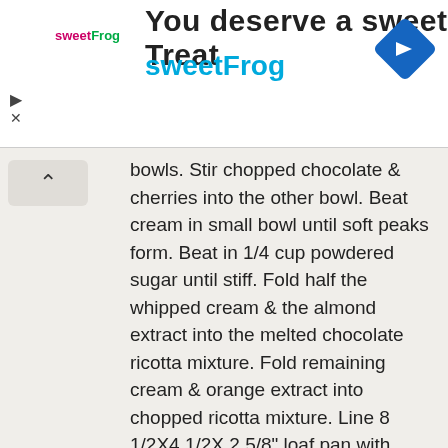[Figure (advertisement): sweetFrog advertisement banner with logo, title 'You deserve a sweet Treat', brand name 'sweetFrog', a blue diamond navigation icon, play and close controls]
bowls. Stir chopped chocolate & cherries into the other bowl. Beat cream in small bowl until soft peaks form. Beat in 1/4 cup powdered sugar until stiff. Fold half the whipped cream & the almond extract into the melted chocolate ricotta mixture. Fold remaining cream & orange extract into chopped ricotta mixture. Line 8 1/2X4 1/2X 2 5/8" loaf pan with plastic wrap, letting about 2" overhang long sides. Turn cooled cake out onto work surface; remove wax paper. Cut cake in half horizontally with serrated knife. Then cut cake in half crosswise to make 9 X 4 1/2" layers. Place one layer in bottom of prepared loaf pan.